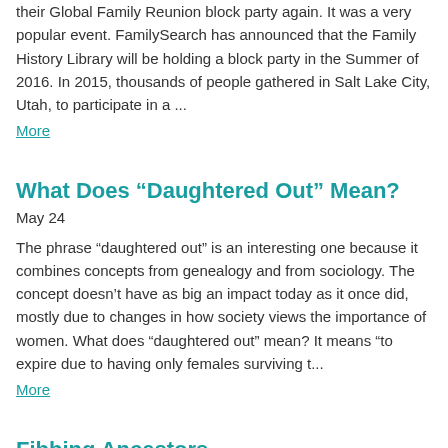their Global Family Reunion block party again. It was a very popular event. FamilySearch has announced that the Family History Library will be holding a block party in the Summer of 2016. In 2015, thousands of people gathered in Salt Lake City, Utah, to participate in a ...
More
What Does “Daughtered Out” Mean?
May 24
The phrase “daughtered out” is an interesting one because it combines concepts from genealogy and from sociology. The concept doesn’t have as big an impact today as it once did, mostly due to changes in how society views the importance of women. What does “daughtered out” mean? It means “to expire due to having only females surviving t...
More
Fibbing Ancestors
Apr 29